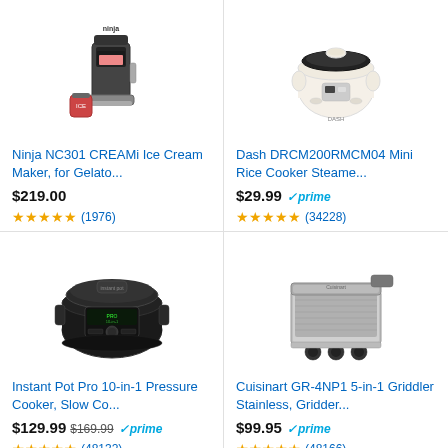[Figure (photo): Ninja NC301 CREAMi Ice Cream Maker product image]
Ninja NC301 CREAMi Ice Cream Maker, for Gelato...
$219.00
(1976)
[Figure (photo): Dash DRCM200RMCM04 Mini Rice Cooker Steamer product image]
Dash DRCM200RMCM04 Mini Rice Cooker Steame...
$29.99 prime
(34228)
[Figure (photo): Instant Pot Pro 10-in-1 Pressure Cooker product image]
Instant Pot Pro 10-in-1 Pressure Cooker, Slow Co...
$129.99 $169.99 prime
(48132)
[Figure (photo): Cuisinart GR-4NP1 5-in-1 Griddler Stainless product image]
Cuisinart GR-4NP1 5-in-1 Griddler Stainless, Gridder...
$99.95 prime
(48166)